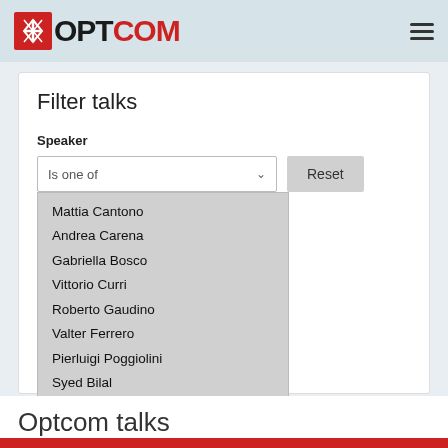OPTCOM
Filter talks
Speaker
Is one of
Mattia Cantono
Andrea Carena
Gabriella Bosco
Vittorio Curri
Roberto Gaudino
Valter Ferrero
Pierluigi Poggiolini
Syed Bilal
Optcom talks